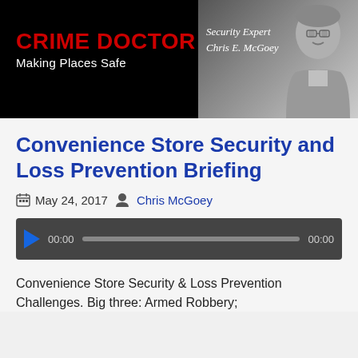[Figure (screenshot): Crime Doctor website header banner with logo, tagline 'Making Places Safe', and Security Expert Chris E. McGoey photo on dark background with hamburger menu icon]
Convenience Store Security and Loss Prevention Briefing
May 24, 2017  Chris McGoey
[Figure (other): Audio player bar with play button, time display 00:00, progress bar, and end time 00:00]
Convenience Store Security & Loss Prevention Challenges. Big three: Armed Robbery;